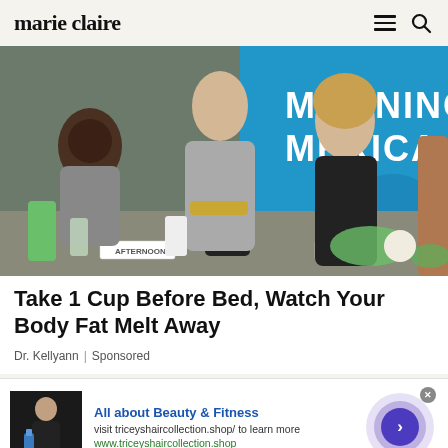marie claire
[Figure (photo): TV show set photo with women on Good Morning America set with smoothie ingredients on table, blue GMA logo visible in background]
Take 1 Cup Before Bed, Watch Your Body Fat Melt Away
Dr. Kellyann | Sponsored
[Figure (photo): Advertisement image showing person holding water bottle]
All about Beauty & Fitness
visit triceyshaircollection.shop/ to learn more
www.triceyshaircollection.shop